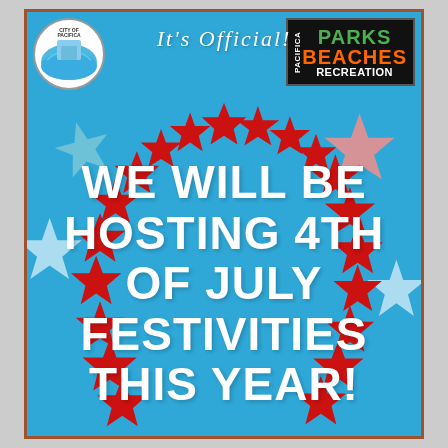[Figure (logo): City of Pacifica circular logo in top left]
It's Official!
[Figure (logo): Pacifica Parks Beaches Recreation logo in top right]
We will be hosting 4th of July Festivities this Year!
[Figure (illustration): Decorative red, white and teal stars arranged in an arc around the central text on a blue background]